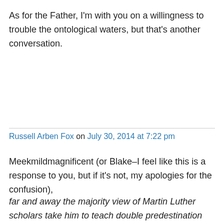As for the Father, I'm with you on a willingness to trouble the ontological waters, but that's another conversation.
Russell Arben Fox on July 30, 2014 at 7:22 pm
Meekmildmagnificent (or Blake–I feel like this is a response to you, but if it's not, my apologies for the confusion),
far and away the majority view of Martin Luther scholars take him to teach double predestination with gusto….his view entailed double predestination even if he later stated that he refused to speculate about predestination. His views were certainly based on voluntarisim. I